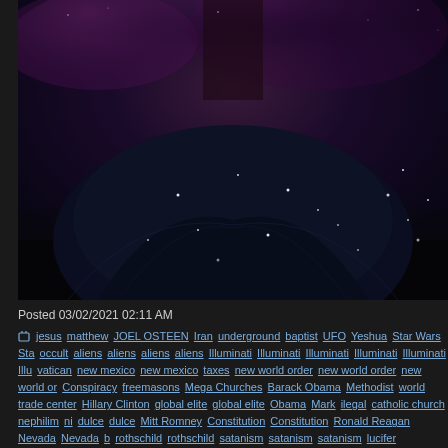[Figure (photo): A woman in a dark navy/black ballgown standing against a dramatic dark purple stormy sky background, with sparkles/stars scattered around the dress. The figure's upper body is partially cut off at the top. The image has a dark, fantasy/gothic aesthetic.]
Posted 03/02/2021 02:11 AM
jesus matthew JOEL OSTEEN Iran underground baptist UFO Yeshua Star Wars Sta occult aliens aliens aliens aliens Illuminati Illuminati Illuminati Illuminati Illuminati Illu vatican new mexico new mexico taxes new world order new world order new world or Conspiracy freemasons Mega Churches Barack Obama Methodist world trade center Hillary Clinton global elite global elite Obama Mark ilegal catholic church nephilim ni dulce dulce Mitt Romney Constitution Constitution Ronald Reagan Nevada Nevada b rothschild rothschild satanism satanism satanism lucifer bloodlines rockefeller rockef